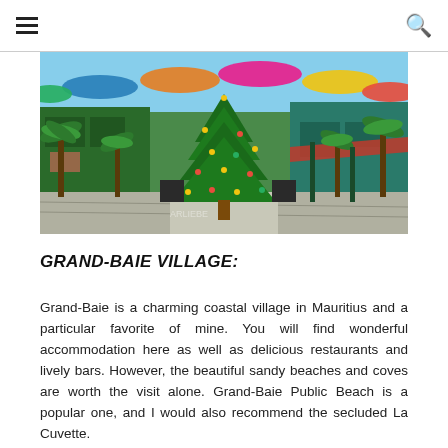≡  🔍
[Figure (photo): Colorful outdoor shopping area or village square in Mauritius with a large decorated Christmas tree in the center, tropical palm trees, colorful umbrellas overhead, and vibrant storefronts on either side.]
GRAND-BAIE VILLAGE:
Grand-Baie is a charming coastal village in Mauritius and a particular favorite of mine. You will find wonderful accommodation here as well as delicious restaurants and lively bars. However, the beautiful sandy beaches and coves are worth the visit alone. Grand-Baie Public Beach is a popular one, and I would also recommend the secluded La Cuvette.